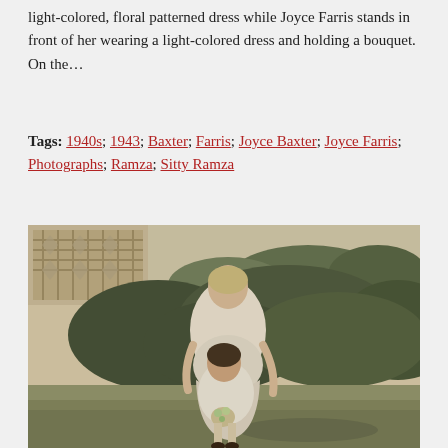light-colored, floral patterned dress while Joyce Farris stands in front of her wearing a light-colored dress and holding a bouquet. On the…
Tags: 1940s; 1943; Baxter; Farris; Joyce Baxter; Joyce Farris; Photographs; Ramza; Sitty Ramza
[Figure (photo): A vintage black-and-white photograph showing two people standing on grass in front of bushes. An adult woman in a light-colored dress stands behind a young girl who is also wearing a light-colored dress and holding a bouquet. There is a decorative patterned backdrop visible in the upper left.]